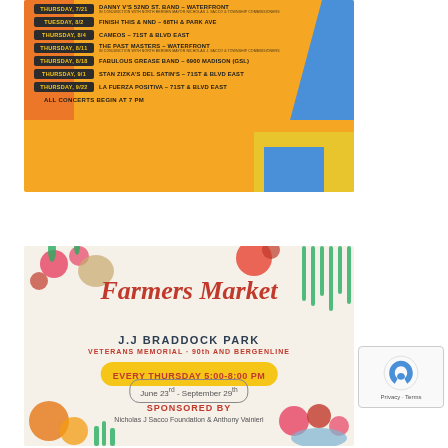[Figure (infographic): Concert schedule flyer with orange background. Lists events: Thursday 7/21 Danny V's 52nd St. Band - Waterfront; Tuesday 8/2 Finish This & NND - 68th & Park Ave; Thursday 8/4 Cameos - 71st & Blvd East; Thursday 8/11 The Past Masters - Waterfront; Thursday 8/18 Fabulous Grease Band - 6900 Madison (GSL); Thursday 9/1 Stan Zizka's Del Satin's - 71st & Blvd East; Thursday 9/22 La Fuerza Positiva - 71st & Blvd East. All Concerts Begin at 7 PM.]
[Figure (infographic): Farmers Market flyer with cream background. J.J Braddock Park, Veterans Memorial - 90th and Bergenline. Every Thursday 5:00-8:00 PM, June 23rd - September 29th. Sponsored by Nicholas J Sacco Foundation & Anthony Vainieri. Decorated with vegetables and fruits.]